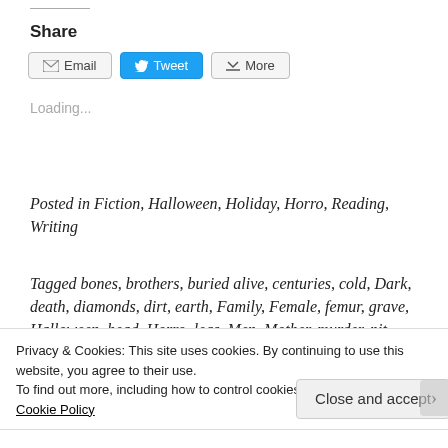Share
Email  Tweet  More
Loading...
Posted in Fiction, Halloween, Holiday, Horro, Reading, Writing
Tagged bones, brothers, buried alive, centuries, cold, Dark, death, diamonds, dirt, earth, Family, Female, femur, grave, Halloween, head, Horro, legs, Men, Mother, murder, pit,
Privacy & Cookies: This site uses cookies. By continuing to use this website, you agree to their use.
To find out more, including how to control cookies, see here: Cookie Policy
Close and accept